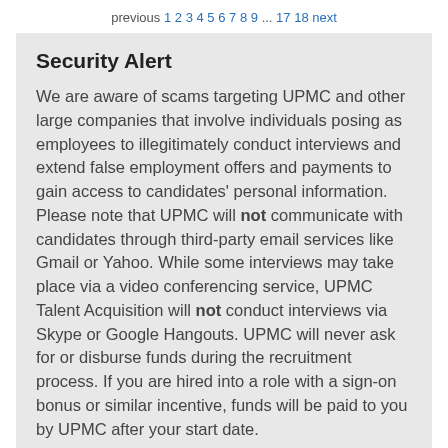previous 1 2 3 4 5 6 7 8 9 ... 17 18 next
Security Alert
We are aware of scams targeting UPMC and other large companies that involve individuals posing as employees to illegitimately conduct interviews and extend false employment offers and payments to gain access to candidates' personal information. Please note that UPMC will not communicate with candidates through third-party email services like Gmail or Yahoo. While some interviews may take place via a video conferencing service, UPMC Talent Acquisition will not conduct interviews via Skype or Google Hangouts. UPMC will never ask for or disburse funds during the recruitment process. If you are hired into a role with a sign-on bonus or similar incentive, funds will be paid to you by UPMC after your start date.
If you suspect you have been a victim of a fraudulent UPMC job offer, please report the